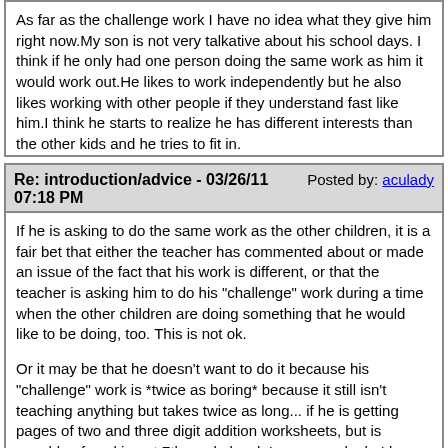As far as the challenge work I have no idea what they give him right now.My son is not very talkative about his school days. I think if he only had one person doing the same work as him it would work out.He likes to work independently but he also likes working with other people if they understand fast like him.I think he starts to realize he has different interests than the other kids and he tries to fit in.

and for the devious seed we thought about it!!!
Re: introduction/advice - 03/26/11 07:18 PM   Posted by: aculady
If he is asking to do the same work as the other children, it is a fair bet that either the teacher has commented about or made an issue of the fact that his work is different, or that the teacher is asking him to do his "challenge" work during a time when the other children are doing something that he would like to be doing, too. This is not ok.

Or it may be that he doesn't want to do it because his "challenge" work is *twice as boring* because it still isn't teaching anything but takes twice as long... if he is getting pages of two and three digit addition worksheets, but is capable of working at 7th grade level, I can see why he'd rebel.